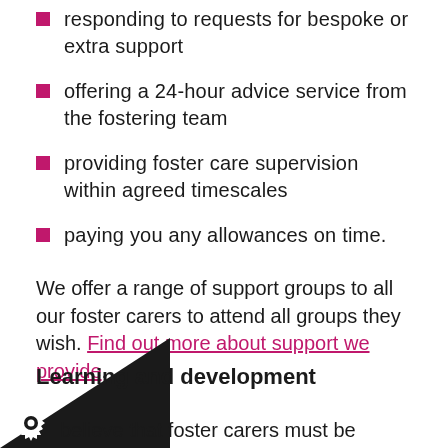responding to requests for bespoke or extra support
offering a 24-hour advice service from the fostering team
providing foster care supervision within agreed timescales
paying you any allowances on time.
We offer a range of support groups to all our foster carers to attend all groups they wish. Find out more about support we provide.
Learning and development
believe that foster carers must be